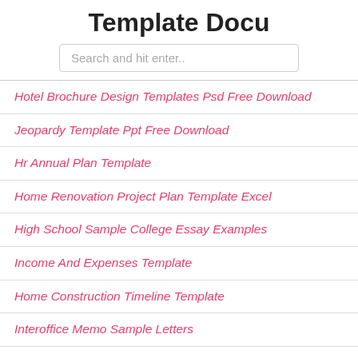Template Docu
Search and hit enter..
Hotel Brochure Design Templates Psd Free Download
Jeopardy Template Ppt Free Download
Hr Annual Plan Template
Home Renovation Project Plan Template Excel
High School Sample College Essay Examples
Income And Expenses Template
Home Construction Timeline Template
Interoffice Memo Sample Letters
History Paper Outline Template
Itinerary Template Word